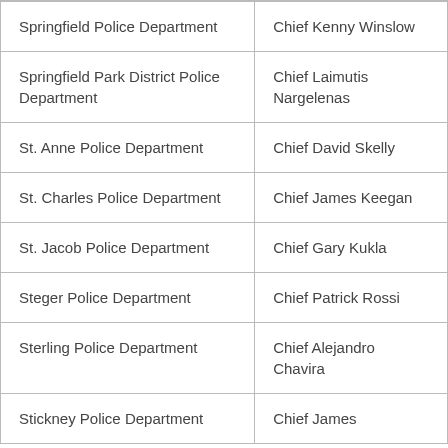| Springfield Police Department | Chief Kenny Winslow |
| Springfield Park District Police Department | Chief Laimutis Nargelenas |
| St. Anne Police Department | Chief David Skelly |
| St. Charles Police Department | Chief James Keegan |
| St. Jacob Police Department | Chief Gary Kukla |
| Steger Police Department | Chief Patrick Rossi |
| Sterling Police Department | Chief Alejandro Chavira |
| Stickney Police Department | Chief James ... |